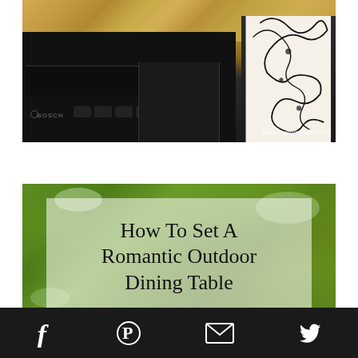[Figure (photo): Photo of a Bosch black dishwasher under a granite countertop, with a decorative black and white patterned item on the right side. Watermark reads featheringmyemptynest.com]
[Figure (photo): Photo of green outdoor foliage/garden with a semi-transparent white overlay containing text: How To Set A Romantic Outdoor Dining Table]
Social sharing bar with Facebook, Pinterest, email, and Twitter icons